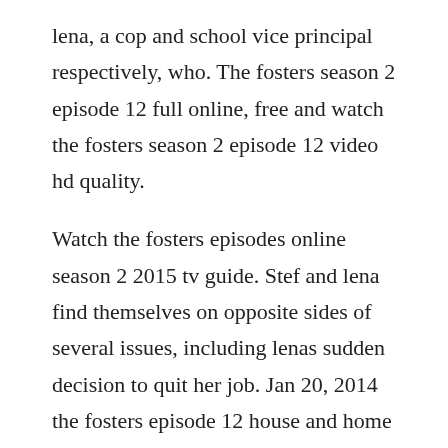lena, a cop and school vice principal respectively, who. The fosters season 2 episode 12 full online, free and watch the fosters season 2 episode 12 video hd quality.
Watch the fosters episodes online season 2 2015 tv guide. Stef and lena find themselves on opposite sides of several issues, including lenas sudden decision to quit her job. Jan 20, 2014 the fosters episode 12 house and home airs monday, january 20 20 9. As callie tries to wrap her head around roberts changeofheart, an ambulance shows up at the quinns house.